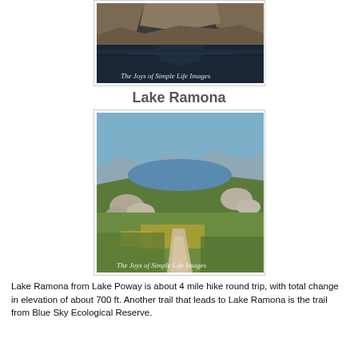[Figure (photo): Aerial/scenic view of a still mountain lake with rocky hills reflected in dark water. Watermark: 'The Joys of Simple Life Images']
Lake Ramona
[Figure (photo): Trail leading to Lake Ramona with yellow wildflowers, boulders, chaparral vegetation, and the lake visible in the distance under a blue sky. Watermark: 'The Joys of Simple Life Images']
Lake Ramona from Lake Poway is about 4 mile hike round trip, with total change in elevation of about 700 ft. Another trail that leads to Lake Ramona is the trail from Blue Sky Ecological Reserve.